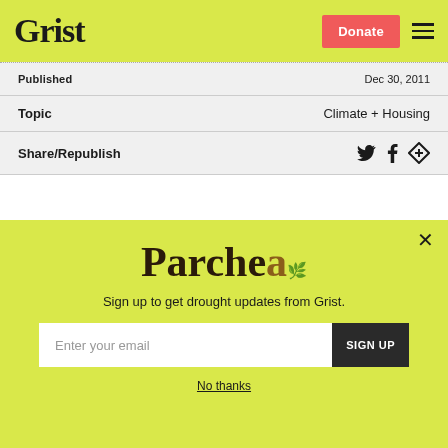Grist
Published	Dec 30, 2011
Topic	Climate + Housing
Share/Republish
Great news for folks who have watched the value of their exurban McMansions circling
[Figure (other): Parchea newsletter signup popup with email input and SIGN UP button on yellow-green background]
No thanks